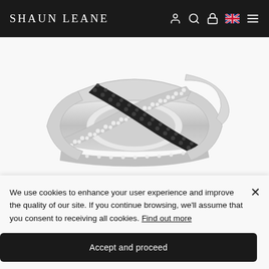SHAUN LEANE
[Figure (photo): A luxury crossover ring with intertwining bands set with white diamonds and black diamonds, in white gold or platinum finish, photographed against a white background.]
We use cookies to enhance your user experience and improve the quality of our site. If you continue browsing, we'll assume that you consent to receiving all cookies. Find out more
Accept and proceed